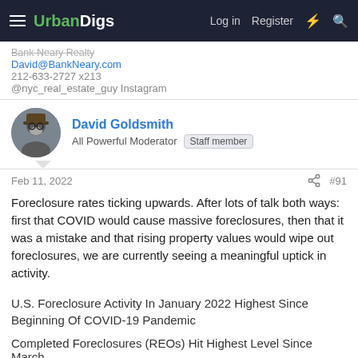UrbanDigs | Log in | Register
Bank Neary Realty
David@BankNeary.com
212-633-2727 x213
@nyc_real_estate_guy Instagram
David Goldsmith
All Powerful Moderator  Staff member
Feb 11, 2022  #91
Foreclosure rates ticking upwards. After lots of talk both ways: first that COVID would cause massive foreclosures, then that it was a mistake and that rising property values would wipe out foreclosures, we are currently seeing a meaningful uptick in activity.
U.S. Foreclosure Activity In January 2022 Highest Since Beginning Of COVID-19 Pandemic
Completed Foreclosures (REOs) Hit Highest Level Since March...